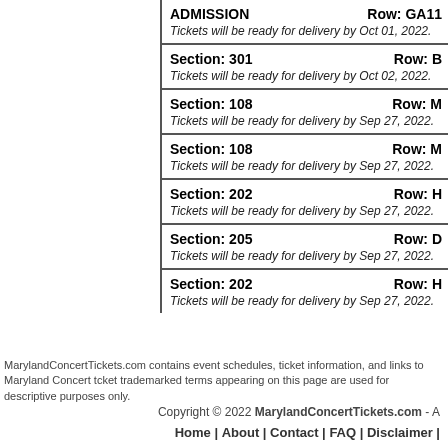| Section/Admission | Row |
| --- | --- |
| ADMISSION | Row: GA11 | Tickets will be ready for delivery by Oct 01, 2022. |
| Section: 301 | Row: B | Tickets will be ready for delivery by Oct 02, 2022. |
| Section: 108 | Row: M | Tickets will be ready for delivery by Sep 27, 2022. |
| Section: 108 | Row: M | Tickets will be ready for delivery by Sep 27, 2022. |
| Section: 202 | Row: H | Tickets will be ready for delivery by Sep 27, 2022. |
| Section: 205 | Row: D | Tickets will be ready for delivery by Sep 27, 2022. |
| Section: 202 | Row: H | Tickets will be ready for delivery by Sep 27, 2022. |
MarylandConcertTickets.com contains event schedules, ticket information, and links to Maryland Concert ticket trademarked terms appearing on this page are used for descriptive purposes only.
Copyright © 2022 MarylandConcertTickets.com - A
Home | About | Contact | FAQ | Disclaimer |